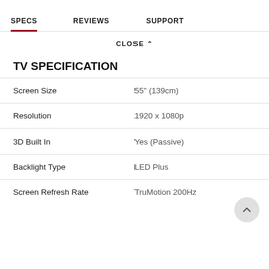SPECS   REVIEWS   SUPPORT
CLOSE ^
TV SPECIFICATION
|  |  |
| --- | --- |
| Screen Size | 55" (139cm) |
| Resolution | 1920 x 1080p |
| 3D Built In | Yes (Passive) |
| Backlight Type | LED Plus |
| Screen Refresh Rate | TruMotion 200Hz |